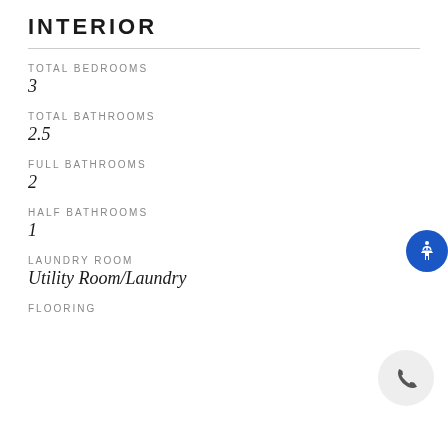INTERIOR
TOTAL BEDROOMS
3
TOTAL BATHROOMS
2.5
FULL BATHROOMS
2
HALF BATHROOMS
1
LAUNDRY ROOM
Utility Room/Laundry
FLOORING